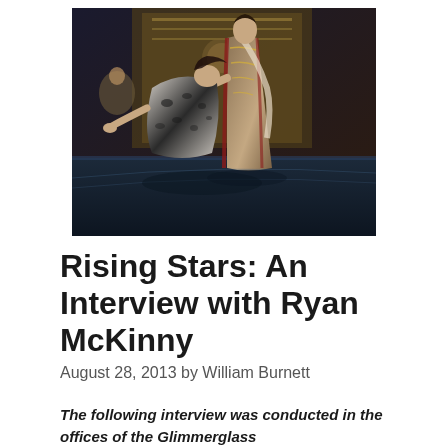[Figure (photo): A theatrical opera stage photo showing two performers in elaborate costumes — one figure in a fur-trimmed dark robe bending dramatically backward while another figure in a richly decorated coat with beaded trim stands over them. Dark stage setting with ornate backdrop.]
Rising Stars: An Interview with Ryan McKinny
August 28, 2013 by William Burnett
The following interview was conducted in the offices of the Glimmerglass